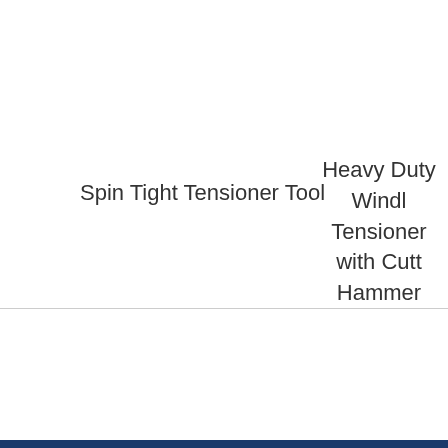Spin Tight Tensioner Tool
Heavy Duty Windl Tensioner with Cutt Hammer
CUSTOMER REVIEWS
Be the first to write a review